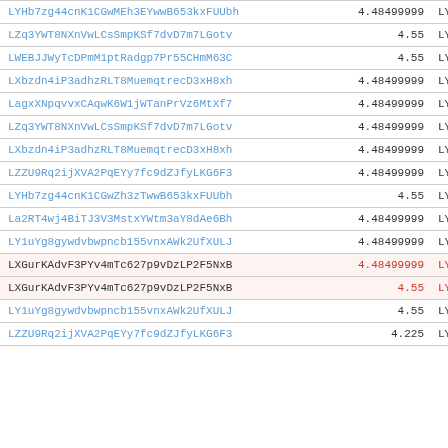| Name | Value | Currency |
| --- | --- | --- |
| LYHb7zg44cnK1CGwMEh3EYwwB653kxFUUbh | 4.48499999 | LYRA |
| LZq3YWT8NXnVwLCsSmpKSf7dvD7m7LGotv | 4.55 | LYRA |
| LWEBJJWyTcDPmM1ptRadgp7Pr55CHmM63C | 4.55 | LYRA |
| LXbzdn4iP3adhzRLT8MuemqtrecD3xH8xh | 4.48499999 | LYRA |
| LagxXNpqvvxCAqwK6W1jWTanPrVz6MtXf7 | 4.48499999 | LYRA |
| LZq3YWT8NXnVwLCsSmpKSf7dvD7m7LGotv | 4.48499999 | LYRA |
| LXbzdn4iP3adhzRLT8MuemqtrecD3xH8xh | 4.48499999 | LYRA |
| LZZU9Rq2ijXVA2PqEYy7fc9dZJfyLKG6F3 | 4.48499999 | LYRA |
| LYHb7zg44cnK1CGwZh3zTwwB653kxFUUbh | 4.55 | LYRA |
| La2RT4wj4BiTJ3V3MstxYWtm3aY8dAe6Bh | 4.48499999 | LYRA |
| LY1uYg8gywdvbwpncb155vnxAWk2UfXULJ | 4.48499999 | LYRA |
| LXGurKAdvF3PYv4mTc627p9vDzLP2F5NxB | 4.48499999 | LYRA |
| LXGurKAdvF3PYv4mTc627p9vDzLP2F5NxB | 4.55 | LYRA |
| LY1uYg8gywdvbwpncb155vnxAWk2UfXULJ | 4.55 | LYRA |
| LZZU9Rq2ijXVA2PqEYy7fc9dZJfyLKG6F3 | 4.225 | LYRA |